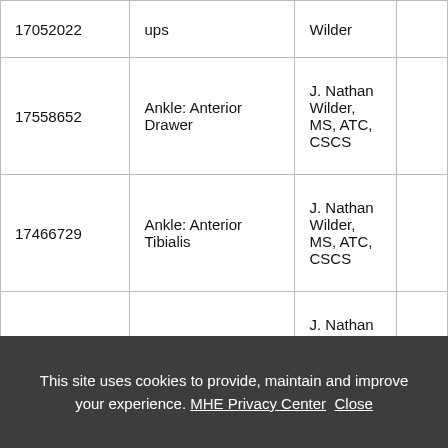| ID | Title | Author |  |
| --- | --- | --- | --- |
| 17052022 | ups | Wilder |  |
| 17558652 | Ankle: Anterior Drawer | J. Nathan Wilder, MS, ATC, CSCS |  |
| 17466729 | Ankle: Anterior Tibialis | J. Nathan Wilder, MS, ATC, CSCS |  |
| 17558654 | Ankle: Bump Test | J. Nathan Wilder, MS, ATC, CSCS |  |
|  |  |  |  |
This site uses cookies to provide, maintain and improve your experience. MHE Privacy Center Close